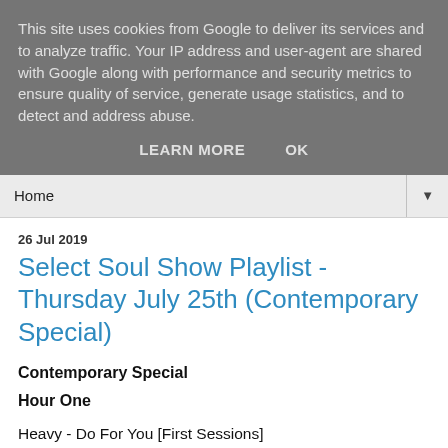This site uses cookies from Google to deliver its services and to analyze traffic. Your IP address and user-agent are shared with Google along with performance and security metrics to ensure quality of service, generate usage statistics, and to detect and address abuse.
LEARN MORE   OK
Home
26 Jul 2019
Select Soul Show Playlist - Thursday July 25th (Contemporary Special)
Contemporary Special
Hour One
Heavy - Do For You [First Sessions]
Musiq Soulchild - If I Woulda Knew (Girlnextdoor Remix) [Juslisen]